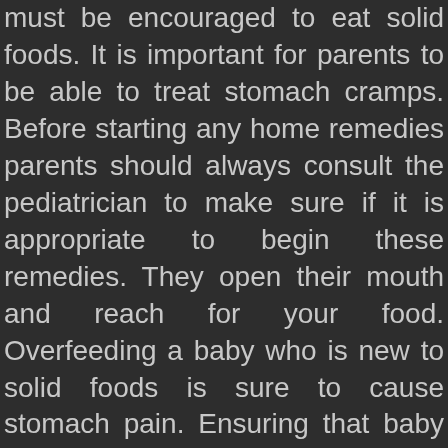must be encouraged to eat solid foods. It is important for parents to be able to treat stomach cramps. Before starting any home remedies parents should always consult the pediatrician to make sure if it is appropriate to begin these remedies. They open their mouth and reach for your food. Overfeeding a baby who is new to solid foods is sure to cause stomach pain. Ensuring that baby has consumed enough fluids helps food to digest properly. Log in Sign up. Pay attention to your baby's symptoms -- you know her the best. I'm wondering if it's stomach issues with her getting used to solids. Symptoms: Your baby may be fussy for no obvious reason, or she may pull up her legs and stretch out, arching her back. Like adults, babies can suffer reflux disease, which is easily treatable but can make them miserable. Think about what you ate before your baby's stomach became upset. ): Is anyone finding their baby is fussier than usual after starting solids? 3. Comments(optional) Report C.W. Offer one item at a time, in very small portions. Monitor the development of any additional symptoms. Whether you breastfeed or use a bottle, there is a possibility in both